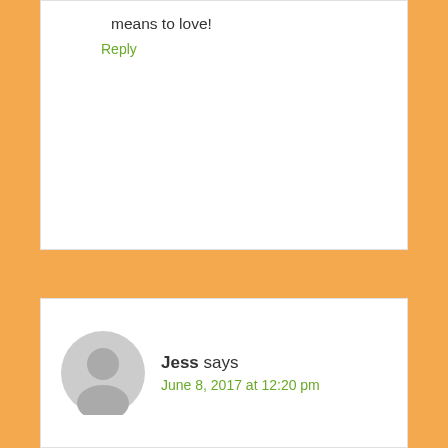means to love!
Reply
Jess says
June 8, 2017 at 12:20 pm
Once had a lady who always meddles with my kids at Mass (taking off their jackets, piling up their books, etc., despite our whispered “we’ve got it covered, thanks”) ask me the Sunday after she met my brother who was visiting of he had any kids or if being around my children had turned him off of parenthood forever.